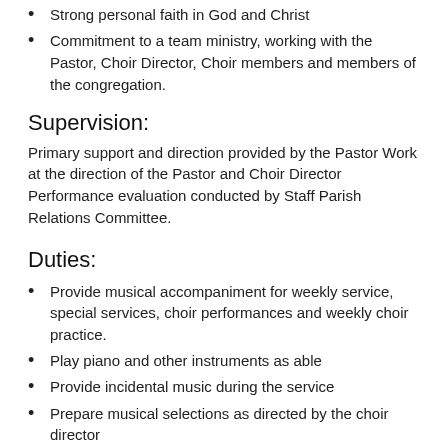Strong personal faith in God and Christ
Commitment to a team ministry, working with the Pastor, Choir Director, Choir members and members of the congregation.
Supervision:
Primary support and direction provided by the Pastor Work at the direction of the Pastor and Choir Director Performance evaluation conducted by Staff Parish Relations Committee.
Duties:
Provide musical accompaniment for weekly service, special services, choir performances and weekly choir practice.
Play piano and other instruments as able
Provide incidental music during the service
Prepare musical selections as directed by the choir director
Be staff link with worship planning -communication between pastor, church secretary and choir director